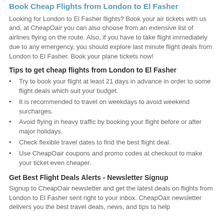Book Cheap Flights from London to El Fasher
Looking for London to El Fasher flights? Book your air tickets with us and, at CheapOair you can also choose from an extensive list of airlines flying on the route. Also, if you have to take flight immediately due to any emergency, you should explore last minute flight deals from London to El Fasher. Book your plane tickets now!
Tips to get cheap flights from London to El Fasher
Try to book your flight at least 21 days in advance in order to some flight deals which suit your budget.
It is recommended to travel on weekdays to avoid weekend surcharges.
Avoid flying in heavy traffic by booking your flight before or after major holidays.
Check flexible travel dates to find the best flight deal.
Use CheapOair coupons and promo codes at checkout to make your ticket even cheaper.
Get Best Flight Deals Alerts - Newsletter Signup
Signup to CheapOair newsletter and get the latest deals on flights from London to El Fasher sent right to your inbox. CheapOair newsletter delivers you the best travel deals, news, and tips to help